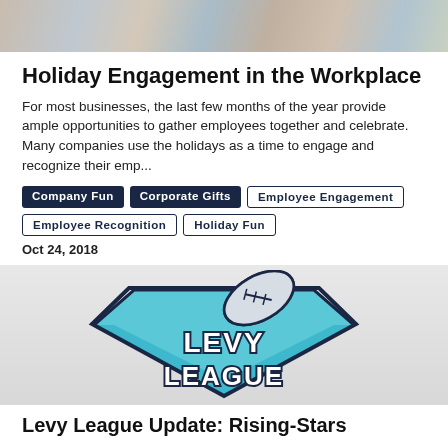[Figure (photo): Top portion of a photo showing a group of people together, cropped at top of page]
Holiday Engagement in the Workplace
For most businesses, the last few months of the year provide ample opportunities to gather employees together and celebrate. Many companies use the holidays as a time to engage and recognize their emp...
Company Fun
Corporate Gifts
Employee Engagement
Employee Recognition
Holiday Fun
Oct 24, 2018
[Figure (logo): Levy League logo featuring a football above a blue chevron/arrow shape with text LEVY LEAGUE in bold white letters with dark outline]
Levy League Update: Rising-Stars
Throughout the football season, there will be players who have breakout